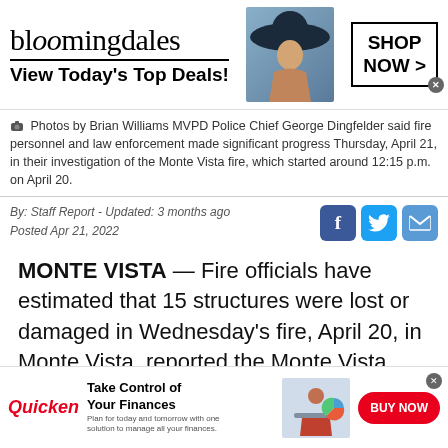[Figure (other): Bloomingdale's advertisement banner with woman in hat, 'View Today's Top Deals!' text and 'SHOP NOW >' button]
Photos by Brian Williams MVPD Police Chief George Dingfelder said fire personnel and law enforcement made significant progress Thursday, April 21, in their investigation of the Monte Vista fire, which started around 12:15 p.m. on April 20.
By: Staff Report - Updated: 3 months ago
Posted Apr 21, 2022
MONTE VISTA — Fire officials have estimated that 15 structures were lost or damaged in Wednesday's fire, April 20, in Monte Vista, reported the Monte Vista Police Department on
[Figure (other): Quicken advertisement banner: 'Take Control of Your Finances' with BUY NOW button]